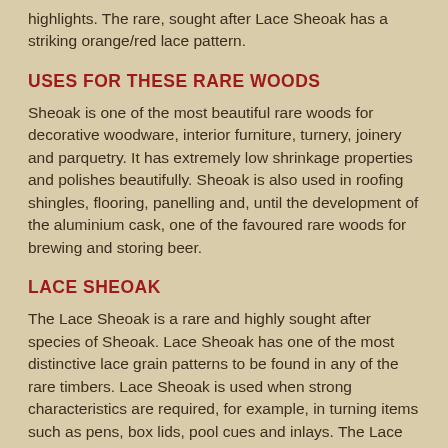highlights. The rare, sought after Lace Sheoak has a striking orange/red lace pattern.
USES FOR THESE RARE WOODS
Sheoak is one of the most beautiful rare woods for decorative woodware, interior furniture, turnery, joinery and parquetry. It has extremely low shrinkage properties and polishes beautifully. Sheoak is also used in roofing shingles, flooring, panelling and, until the development of the aluminium cask, one of the favoured rare woods for brewing and storing beer.
LACE SHEOAK
The Lace Sheoak is a rare and highly sought after species of Sheoak. Lace Sheoak has one of the most distinctive lace grain patterns to be found in any of the rare timbers. Lace Sheoak is used when strong characteristics are required, for example, in turning items such as pens, box lids, pool cues and inlays. The Lace Sheoak can also be used with spectacular results in larger wood projects.